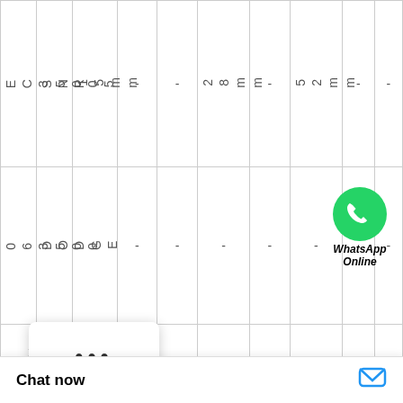| EC35005 | SNR | 15mm | - | - | 28mm | - | 52mm | - | - |
| 063500 | DODGE | - | - | - | - | - | - | [WhatsApp] | - |
| X Ct... | TIMK 5... | - | - | - | - | - | - | - | - |
[Figure (logo): WhatsApp Online logo with green phone icon and bold italic label 'WhatsApp Online']
Chat now